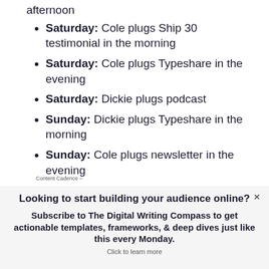afternoon
Saturday: Cole plugs Ship 30 testimonial in the morning
Saturday: Cole plugs Typeshare in the evening
Saturday: Dickie plugs podcast
Sunday: Dickie plugs Typeshare in the morning
Sunday: Cole plugs newsletter in the evening
Content Cadence –
Looking to start building your audience online?
Subscribe to The Digital Writing Compass to get actionable templates, frameworks, & deep dives just like this every Monday.
Click to learn more